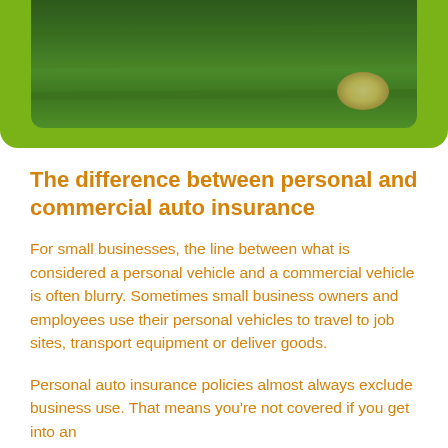[Figure (photo): Aerial or close-up photo of green grass/lawn with a white circular marking, set inside a green rounded rectangle frame]
The difference between personal and commercial auto insurance
For small businesses, the line between what is considered a personal vehicle and a commercial vehicle is often blurry. Sometimes small business owners and employees use their personal vehicles to travel to job sites, transport equipment or deliver goods.
Personal auto insurance policies almost always exclude business use. That means you're not covered if you get into an